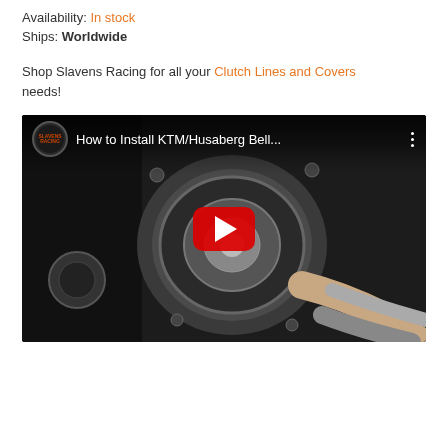Availability: In stock
Ships: Worldwide
Shop Slavens Racing for all your Clutch Lines and Covers needs!
[Figure (screenshot): YouTube video thumbnail showing hands installing a KTM/Husaberg Bell... component on a motorcycle engine. Video title: 'How to Install KTM/Husaberg Bell...' with a red YouTube play button overlay and channel logo in top-left corner.]